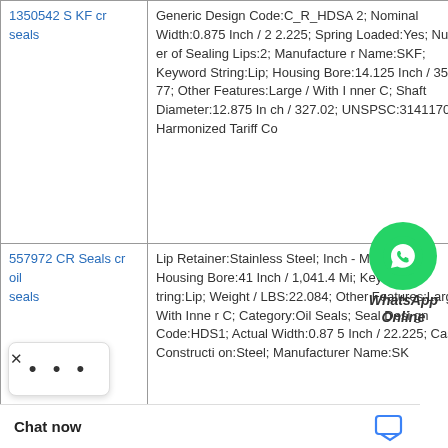| Product | Description |
| --- | --- |
| 1350542 SKF cr seals | Generic Design Code:C_R_HDSA2; Nominal Width:0.875 Inch / 22.225; Spring Loaded:Yes; Number of Sealing Lips:2; Manufacturer Name:SKF; Keyword String:Lip; Housing Bore:14.125 Inch / 358.77; Other Features:Large / With Inner C; Shaft Diameter:12.875 Inch / 327.02; UNSPSC:31411705; Harmonized Tariff Co |
| 557972 CR Seals cr oil seals | Lip Retainer:Stainless Steel; Inch - Metric:Inch; Housing Bore:41 Inch / 1,041.4 Mi; Keyword String:Lip; Weight / LBS:22.084; Other Features:Large / With Inner C; Category:Oil Seals; Seal Design Code:HDS1; Actual Width:0.875 Inch / 22.225; Case Construction:Steel; Manufacturer Name:SK |
[Figure (other): WhatsApp Online button overlay with green phone icon circle and italic bold WhatsApp Online text]
Chat now